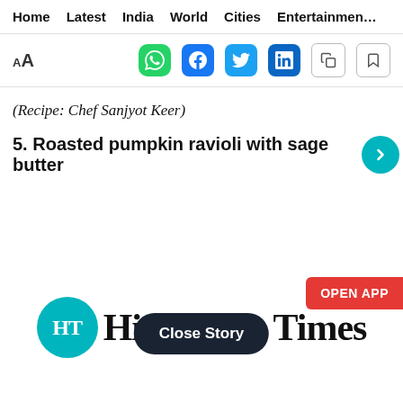Home   Latest   India   World   Cities   Entertainment
AA [WhatsApp] [Facebook] [Twitter] [LinkedIn] [Copy] [Bookmark]
(Recipe: Chef Sanjyot Keer)
5. Roasted pumpkin ravioli with sage butter
OPEN APP
[Figure (logo): Hindustan Times logo: HT circle in teal with blackletter 'Hindustan Times' text]
Close Story